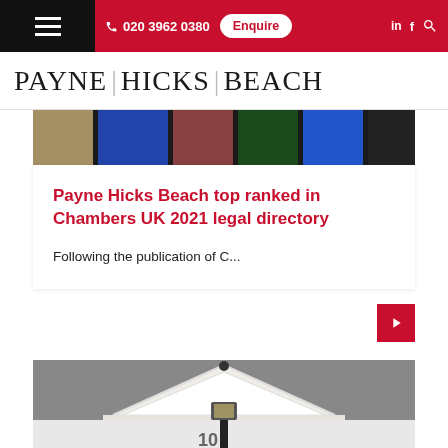☰  020 3962 0380  Enquire  in  f  🔍
[Figure (logo): Payne Hicks Beach law firm logo with vertical dividers between words]
[Figure (photo): Close-up of colourful front doors of Georgian townhouses]
Payne Hicks Beach top ranked in Chambers UK 2021 legal directory
Following the publication of C...
[Figure (photo): Architectural pediment and street lamp outside a London townhouse with number 10]